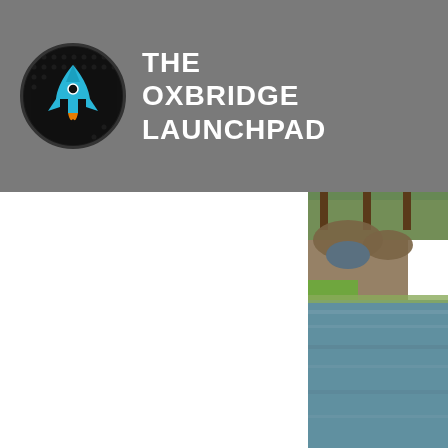[Figure (logo): The Oxbridge Launchpad logo — circular black background with a blue rocket and halftone dot pattern, with white text reading THE OXBRIDGE LAUNCHPAD]
[Figure (photo): A scenic photo showing a canal or river with a stone bridge, large trees, and green parkland — an Oxford or Cambridge riverside scene]